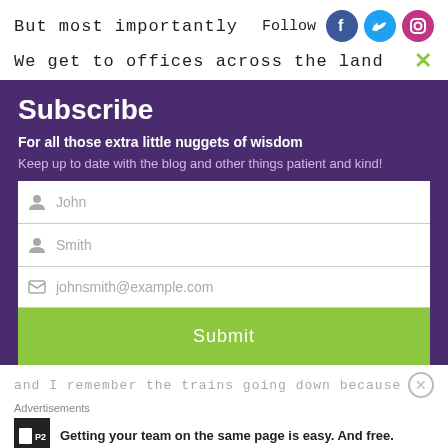But most importantly
Follow
We get to offices across the land
Subscribe
For all those extra little nuggets of wisdom
Keep up to date with the blog and other things patient and kind!
John
Smith
johnsmith@example.com
Submit
and I remember the trains going down because
Advertisements
Getting your team on the same page is easy. And free.